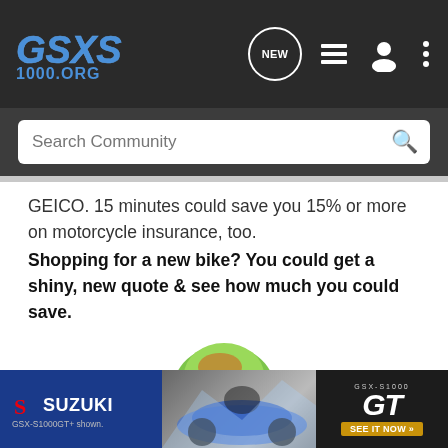GSXS 1000.ORG — navigation bar with logo, NEW, list, user, and menu icons
Search Community
GEICO. 15 minutes could save you 15% or more on motorcycle insurance, too.
Shopping for a new bike? You could get a shiny, new quote & see how much you could save.
[Figure (illustration): GEICO gecko mascot — green lizard looking forward, upper body visible, centered in white space]
[Figure (illustration): Suzuki GSX-S1000 GT advertisement banner at bottom: Suzuki logo on blue left panel, motorcycle photo in center, GSX-S1000 GT badge and SEE IT NOW button on dark right panel. Caption: GSX-S1000GT+ shown.]